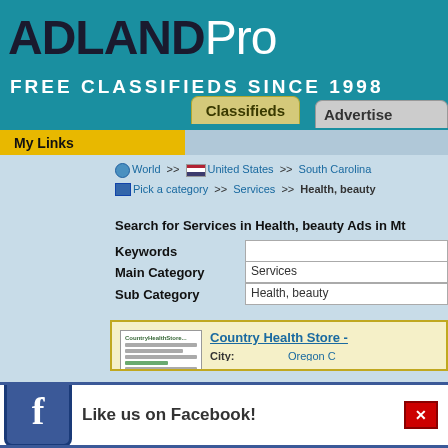ADLANDPro FREE CLASSIFIEDS SINCE 1998
My Links
World >> United States >> South Carolina >> Pick a category >> Services >> Health, beauty
Search for Services in Health, beauty Ads in Mt
Keywords
Main Category: Services
Sub Category: Health, beauty
[Figure (screenshot): Country Health Store thumbnail image]
Country Health Store - 
City: Oregon C
Category: Services
Date: 7/25/202
Description: Alternativ Healthy C
Like us on Facebook!